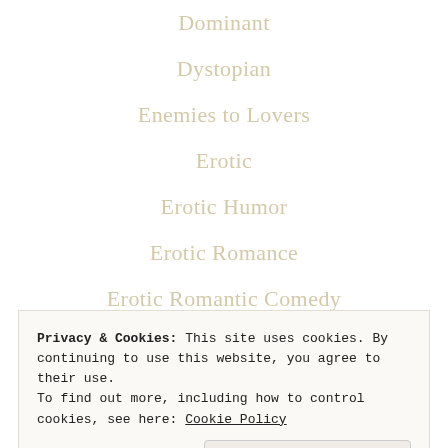Dominant
Dystopian
Enemies to Lovers
Erotic
Erotic Humor
Erotic Romance
Erotic Romantic Comedy
Erotic Suspense
Erotic Thriller
Privacy & Cookies: This site uses cookies. By continuing to use this website, you agree to their use.
To find out more, including how to control cookies, see here: Cookie Policy
Close and accept
Family Saga